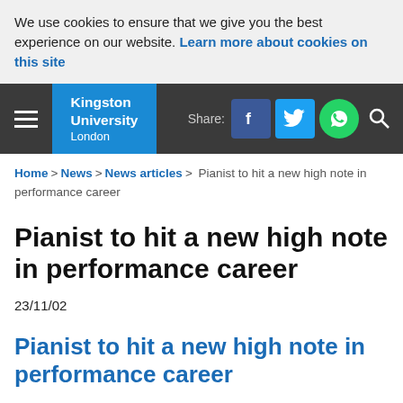We use cookies to ensure that we give you the best experience on our website. Learn more about cookies on this site
[Figure (other): Kingston University London navigation bar with hamburger menu, logo, Share label, Facebook, Twitter, WhatsApp and search icons]
Home > News > News articles > Pianist to hit a new high note in performance career
Pianist to hit a new high note in performance career
23/11/02
Pianist to hit a new high note in performance career